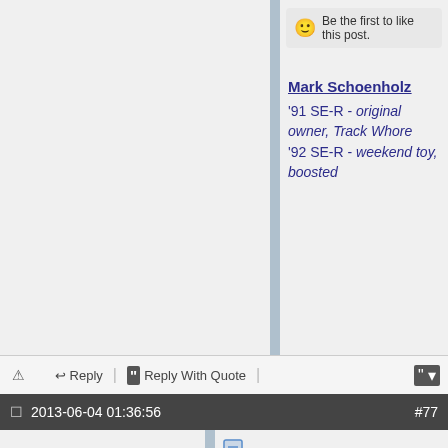Be the first to like this post.
Mark Schoenholz
'91 SE-R - original owner, Track Whore
'92 SE-R - weekend toy, boosted
Reply | Reply With Quote
2013-06-04 01:36:56  #77
Kyle
OEM Plus.
[Figure (photo): Red car on a race track, curving road with grass]
Join Date: 2007-12-11
Location:
Posts: 11,897
Trader Score: 52 (100%)
I plan on leaving my house at 6AM on Wednesday. I plan on being on I-81 all the way down. Taking the PA Turnpike to Carlisle and heading South for a whole lotta miles.

Any of you MD folks want to meet up?

Old Man is more...